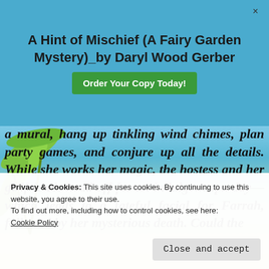A Hint of Mischief (A Fairy Garden Mystery)_by Daryl Wood Gerber
Order Your Copy Today!
a mural, hang up tinkling wind chimes, plan party games, and conjure up all the details. While she works her magic, the hostess and her girlfriends head off for an indulgent spa day—which leads to a fateful facial for Farrah, followed by her mysterious death. Could the k... i... s... t... t...
Privacy & Cookies: This site uses cookies. By continuing to use this website, you agree to their use.
To find out more, including how to control cookies, see here:
Cookie Policy
Close and accept